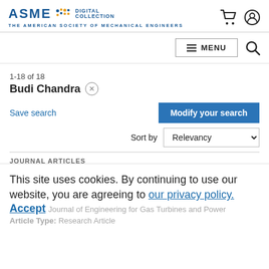ASME DIGITAL COLLECTION — THE AMERICAN SOCIETY OF MECHANICAL ENGINEERS
1-18 of 18
Budi Chandra
Save search
Modify your search
Sort by Relevancy
JOURNAL ARTICLES
Scavenge Performance of an Optimized Shallow Sump
This site uses cookies. By continuing to use our website, you are agreeing to our privacy policy. Accept
Journal of Engineering for Gas Turbines and Power
Article Type: Research Article